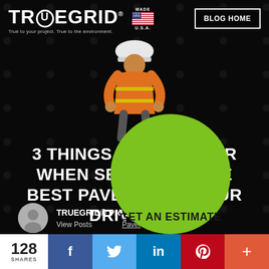[Figure (photo): Hero background showing dark textured paver grid with construction worker in orange safety vest and white hardhat installing pavers]
TRUEGRID® | Made in USA | BLOG HOME
3 THINGS TO CONSIDER WHEN SELECTING THE BEST PAVERS FOR YOUR DRIVEWAY
TRUEGRID® Pro Plex Paver
View Posts · Paver
[Figure (infographic): Green circle CTA button with text GET AN ESTIMATE]
128 SHARES | Facebook | Twitter | LinkedIn | Pinterest | More